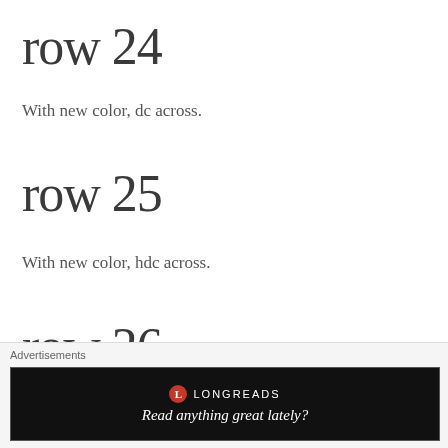row 24
With new color, dc across.
row 25
With new color, hdc across.
row 26
We’re going to do 3 rows of 1 color, so I’d recommen you have a lot of.  With your chosen new color, dc ac this:
[Figure (photo): Purple crocheted yarn/fabric texture strip]
Advertisements
[Figure (logo): Longreads advertisement: Read anything great lately?]